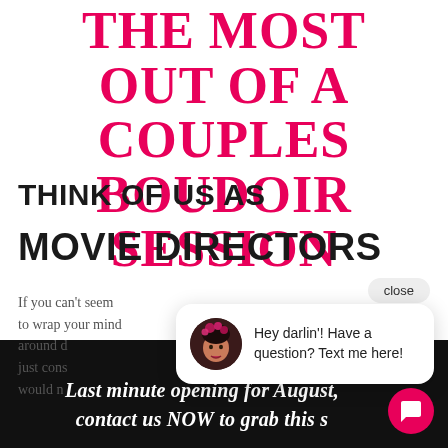THE MOST OUT OF A COUPLES BOUDOIR SESSION
THINK OF US AS
MOVIE DIRECTORS
If you can't seem to wrap your mind around d... just cons... would n...
[Figure (other): Chat popup with close button, avatar of woman with pink flower headpiece, and message 'Hey darlin'! Have a question? Text me here!']
Last minute opening for August, contact us NOW to grab this s...